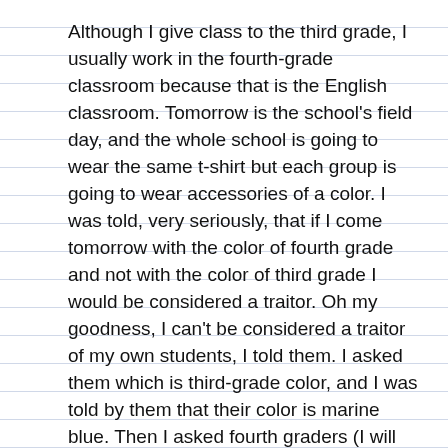Although I give class to the third grade, I usually work in the fourth-grade classroom because that is the English classroom. Tomorrow is the school's field day, and the whole school is going to wear the same t-shirt but each group is going to wear accessories of a color. I was told, very seriously, that if I come tomorrow with the color of fourth grade and not with the color of third grade I would be considered a traitor. Oh my goodness, I can't be considered a traitor of my own students, I told them. I asked them which is third-grade color, and I was told by them that their color is marine blue. Then I asked fourth graders (I will be with them tomorrow for an extracurricular activity after the field day) which is they color. They answered: marine blue. I raised an eyebrow: the two groups have the same color? I asked further among teachers and I was told that there are two competitions in the same field day: one for